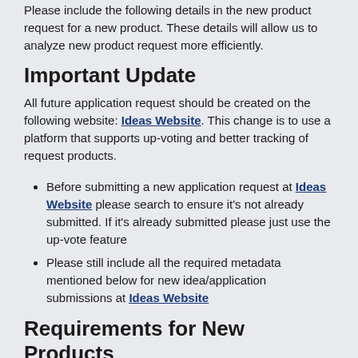Please include the following details in the new product request for a new product. These details will allow us to analyze new product request more efficiently.
Important Update
All future application request should be created on the following website: Ideas Website. This change is to use a platform that supports up-voting and better tracking of request products.
Before submitting a new application request at Ideas Website please search to ensure it's not already submitted. If it's already submitted please just use the up-vote feature
Please still include all the required metadata mentioned below for new idea/application submissions at Ideas Website
Requirements for New Products
1) Supports silent installation via command line
2) Install successfully under SYSTEM context
3) Public download URL for the offline installer (Note: some